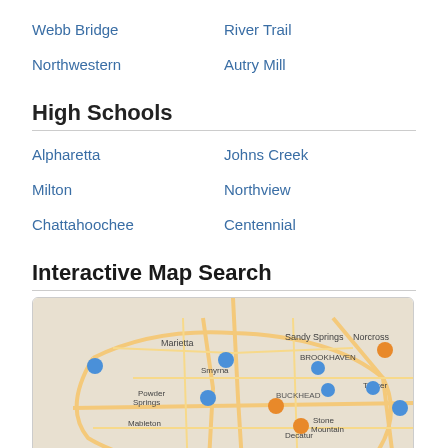Webb Bridge
River Trail
Northwestern
Autry Mill
High Schools
Alpharetta
Johns Creek
Milton
Northview
Chattahoochee
Centennial
Interactive Map Search
[Figure (map): Interactive map of the greater Atlanta, Georgia area showing various location pins (blue and orange markers) around Sandy Springs, Marietta, Buckhead, Smyrna, Decatur, Tucker, Stone Mountain, and other neighborhoods. Roads are shown in orange/yellow on a light map background.]